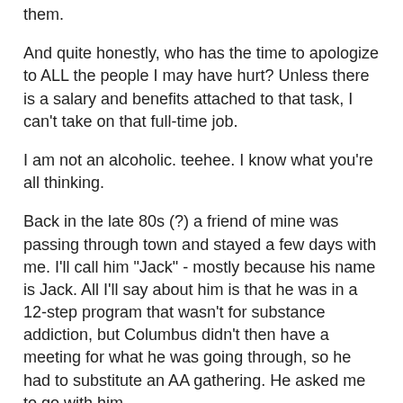them.
And quite honestly, who has the time to apologize to ALL the people I may have hurt? Unless there is a salary and benefits attached to that task, I can't take on that full-time job.
I am not an alcoholic. teehee. I know what you're all thinking.
Back in the late 80s (?) a friend of mine was passing through town and stayed a few days with me. I'll call him "Jack" - mostly because his name is Jack. All I'll say about him is that he was in a 12-step program that wasn't for substance addiction, but Columbus didn't then have a meeting for what he was going through, so he had to substitute an AA gathering. He asked me to go with him.
I had never been to an AA meeting. Interesting only begins to describe it. It was exactly and nothing like I thought it would be.
To start off, we were the only two who weren't smoking, let